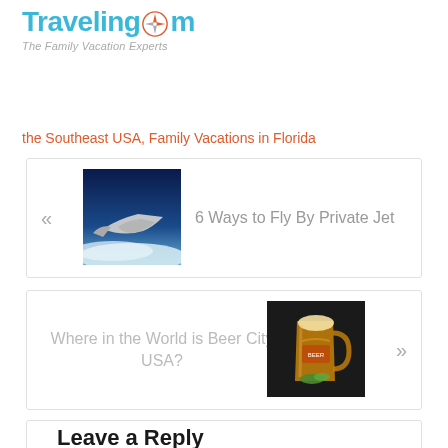[Figure (logo): TravelingMom logo with compass rose and tagline 'The Family Vacation Experts']
the Southeast USA, Family Vacations in Florida
[Figure (photo): Card with airplane wing view from window against blue sky, navigation arrow left, title '6 Ways to Fly By Private Jet']
[Figure (photo): Card with beer glass photo, navigation arrow right, title 'Where in the World is Beer City USA?']
Leave a Reply